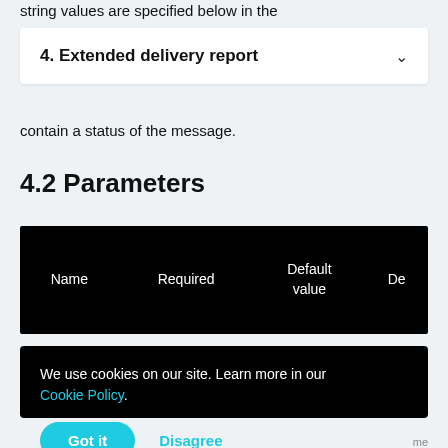string values are specified below in the
4. Extended delivery report
contain a status of the message.
4.2 Parameters
| Name | Required | Default value | De |
| --- | --- | --- | --- |
We use cookies on our site. Learn more in our Cookie Policy.
Got it  Disagree
me